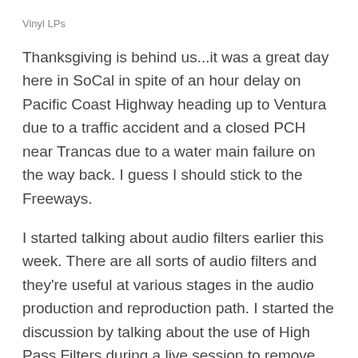Vinyl LPs
Thanksgiving is behind us...it was a great day here in SoCal in spite of an hour delay on Pacific Coast Highway heading up to Ventura due to a traffic accident and a closed PCH near Trancas due to a water main failure on the way back. I guess I should stick to the Freeways.
I started talking about audio filters earlier this week. There are all sorts of audio filters and they're useful at various stages in the audio production and reproduction path. I started the discussion by talking about the use of High Pass Filters during a live session to remove unwanted low frequencies. There are other analog filter types used during recording and mixdown sessions but I thought I would jump to the conversion side of the equation